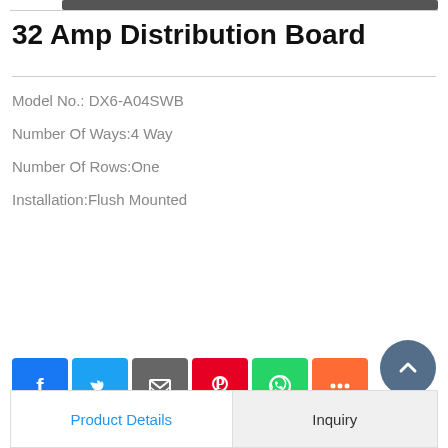32 Amp Distribution Board
Model No.: DX6-A04SWB
Number Of Ways:4 Way
Number Of Rows:One
Installation:Flush Mounted
[Figure (other): Send Inquiry button — dark navy blue rectangle with white bold text]
[Figure (other): Row of six social media share icons: Facebook (blue), Twitter (light blue), Email (gray), Pinterest (red), WhatsApp (green), More (orange)]
[Figure (other): Scroll-to-top circle button (slate blue) with upward chevron, bottom right]
| Product Details | Inquiry |
| --- | --- |